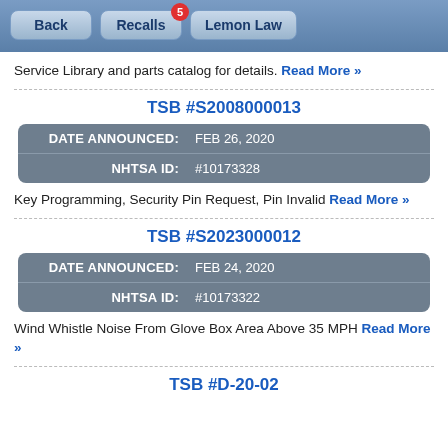Back | Recalls 5 | Lemon Law
Service Library and parts catalog for details. Read More »
TSB #S2008000013
| Field | Value |
| --- | --- |
| DATE ANNOUNCED: | FEB 26, 2020 |
| NHTSA ID: | #10173328 |
Key Programming, Security Pin Request, Pin Invalid Read More »
TSB #S2023000012
| Field | Value |
| --- | --- |
| DATE ANNOUNCED: | FEB 24, 2020 |
| NHTSA ID: | #10173322 |
Wind Whistle Noise From Glove Box Area Above 35 MPH Read More »
TSB #D-20-02